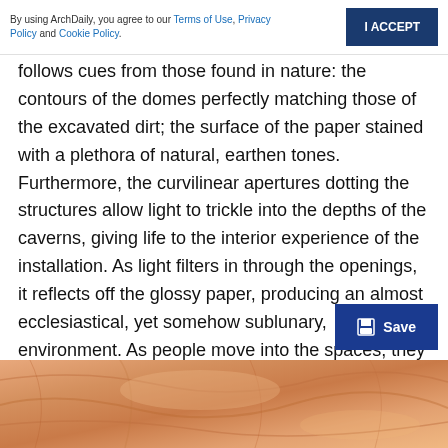By using ArchDaily, you agree to our Terms of Use, Privacy Policy and Cookie Policy.  [I ACCEPT]
follows cues from those found in nature: the contours of the domes perfectly matching those of the excavated dirt; the surface of the paper stained with a plethora of natural, earthen tones. Furthermore, the curvilinear apertures dotting the structures allow light to trickle into the depths of the caverns, giving life to the interior experience of the installation. As light filters in through the openings, it reflects off the glossy paper, producing an almost ecclesiastical, yet somehow sublunary, environment. As people move into the spaces, they become enveloped in a primordial experience—as if gestating in the womb of mother earth or stowing away in the belly of a whale just below the surface of the
[Figure (photo): Close-up photograph of crinkled paper or fabric in warm orange and peach tones, showing textured creases and folds.]